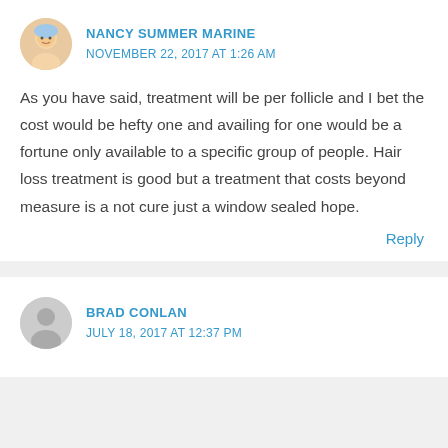NANCY SUMMER MARINE
NOVEMBER 22, 2017 AT 1:26 AM
As you have said, treatment will be per follicle and I bet the cost would be hefty one and availing for one would be a fortune only available to a specific group of people. Hair loss treatment is good but a treatment that costs beyond measure is a not cure just a window sealed hope.
Reply
BRAD CONLAN
JULY 18, 2017 AT 12:37 PM